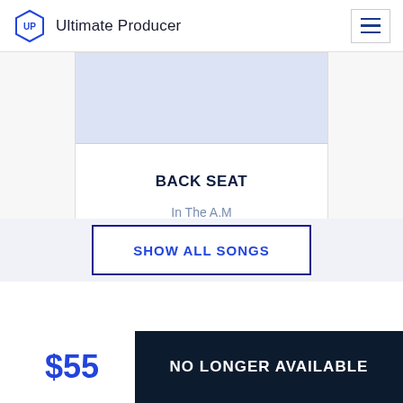Ultimate Producer
[Figure (illustration): Album artwork placeholder with light blue/lavender background rectangle inside a white card]
BACK SEAT
In The A.M
SHOW ALL SONGS
$55
NO LONGER AVAILABLE